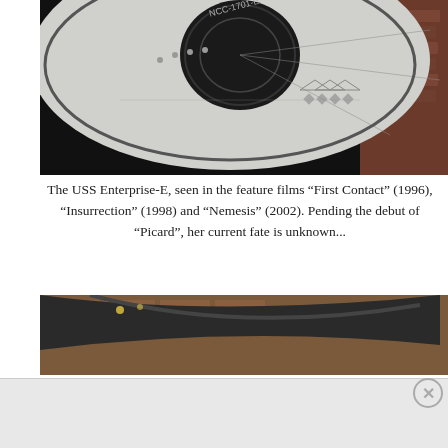[Figure (photo): Close-up photo of the USS Enterprise-E model (NCC-1701-E) saucer section against a dark background with brick wall visible. White/grey spacecraft detail with markings visible.]
The USS Enterprise-E, seen in the feature films “First Contact” (1996), “Insurrection” (1998) and “Nemesis” (2002). Pending the debut of “Picard”, her current fate is unknown...
[Figure (photo): Partial photo showing what appears to be a dark curved spacecraft component against a brick wall background.]
Advertisements
[Figure (photo): Advertisement banner: KISS BORING LIPS GOODBYE | SHOP NOW | macys (Macy's ad with woman's face and red lips)]